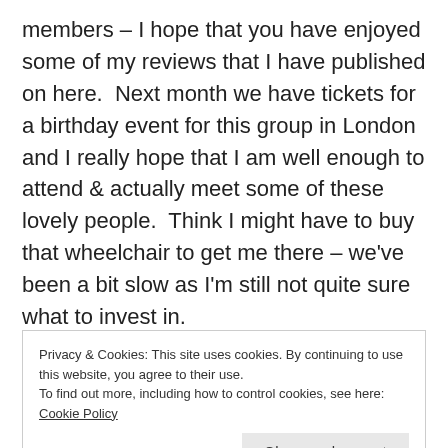members – I hope that you have enjoyed some of my reviews that I have published on here.  Next month we have tickets for a birthday event for this group in London and I really hope that I am well enough to attend & actually meet some of these lovely people.  Think I might have to buy that wheelchair to get me there – we've been a bit slow as I'm still not quite sure what to invest in.
At times I feel very aware that other amazing
Privacy & Cookies: This site uses cookies. By continuing to use this website, you agree to their use. To find out more, including how to control cookies, see here: Cookie Policy
Close and accept
at http://www.TheGirlWiththeFiveLads.co.uk ?).  But it